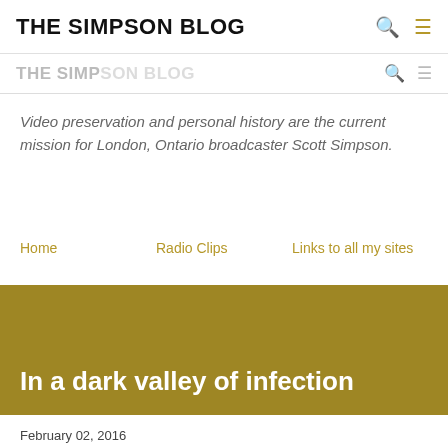THE SIMPSON BLOG
Video preservation and personal history are the current mission for London, Ontario broadcaster Scott Simpson.
Home   Radio Clips   Links to all my sites
In a dark valley of infection
February 02, 2016